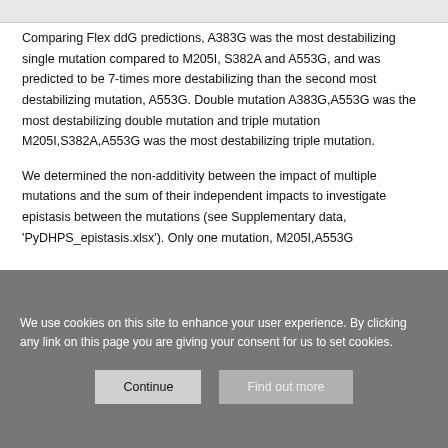Comparing Flex ddG predictions, A383G was the most destabilizing single mutation compared to M205I, S382A and A553G, and was predicted to be 7-times more destabilizing than the second most destabilizing mutation, A553G. Double mutation A383G,A553G was the most destabilizing double mutation and triple mutation M205I,S382A,A553G was the most destabilizing triple mutation.
We determined the non-additivity between the impact of multiple mutations and the sum of their independent impacts to investigate epistasis between the mutations (see Supplementary data, 'PyDHPS_epistasis.xlsx'). Only one mutation, M205I,A553G
We use cookies on this site to enhance your user experience. By clicking any link on this page you are giving your consent for us to set cookies.